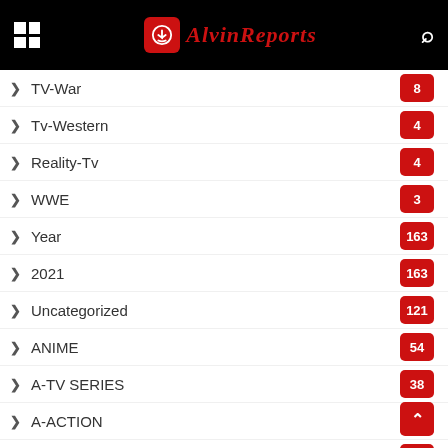AlvinReports
TV-War
Tv-Western
Reality-Tv
WWE
Year
2021
Uncategorized
ANIME
A-TV SERIES
A-ACTION
A-ADVENTURE
A-COMEDY